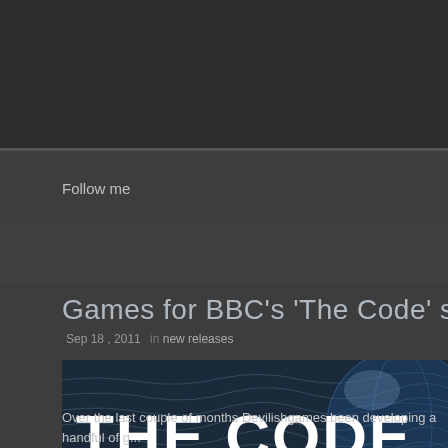Follow me
Games for BBC's 'The Code' se
Sep 18 , 2011 · in new releases
[Figure (photo): Banner image for 'The Code' BBC series showing bold white text 'THE CODE' over a dark blue background with handwritten script and a globe graphic]
Over the last couple of months Devilishgames been developing a handful of g... aired last August. We've been working closely with the lovely people of Six To